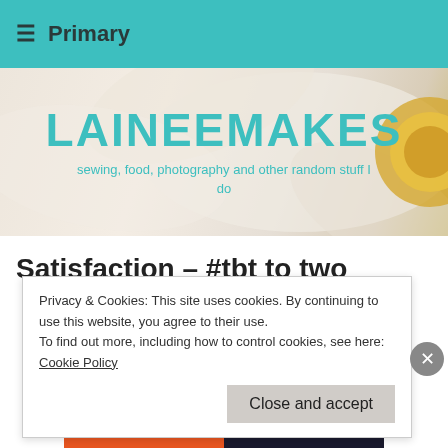≡  Primary
[Figure (illustration): Hero banner with floral background showing white flower petals and yellow center, overlaid with blog title LAINEEMAKES and subtitle text in teal color]
LAINEEMAKES
sewing, food, photography and other random stuff I do
Satisfaction – #tbt to two
Privacy & Cookies: This site uses cookies. By continuing to use this website, you agree to their use.
To find out more, including how to control cookies, see here: Cookie Policy
Close and accept